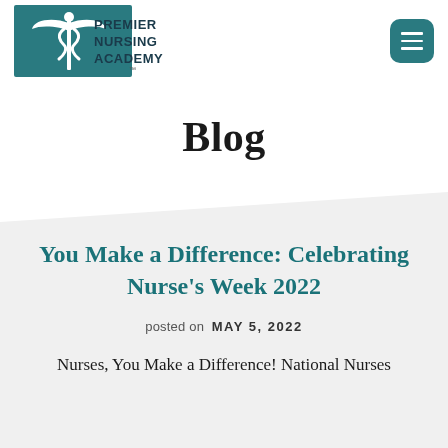Premier Nursing Academy
Blog
You Make a Difference: Celebrating Nurse's Week 2022
posted on MAY 5, 2022
Nurses, You Make a Difference! National Nurses